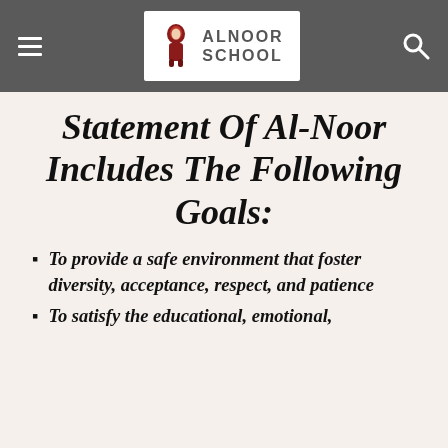ALNOOR SCHOOL
Statement Of Al-Noor Includes The Following Goals:
To provide a safe environment that foster diversity, acceptance, respect, and patience
To satisfy the educational, emotional,